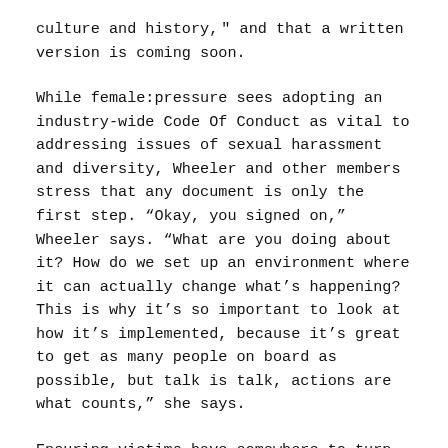culture and history," and that a written version is coming soon.
While female:pressure sees adopting an industry-wide Code Of Conduct as vital to addressing issues of sexual harassment and diversity, Wheeler and other members stress that any document is only the first step. “Okay, you signed on,” Wheeler says. “What are you doing about it? How do we set up an environment where it can actually change what’s happening? This is why it’s so important to look at how it’s implemented, because it’s great to get as many people on board as possible, but talk is talk, actions are what counts,” she says.
Ensuring victims have somewhere to turn outside of their company where problems can be reported